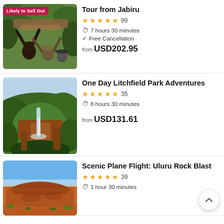[Figure (photo): People on a tour examining something overhead in a forest, with a 'Likely to Sell Out' badge]
Tour from Jabiru
★★★★½ 99
7 hours 30 minutes
Free Cancellation
from USD202.95
[Figure (photo): Aerial view of Litchfield Park waterfall surrounded by lush green vegetation]
One Day Litchfield Park Adventures
★★★★½ 35
8 hours 30 minutes
from USD131.61
[Figure (photo): Aerial view of Uluru (Ayers Rock) under blue sky]
Scenic Plane Flight: Uluru Rock Blast
★★★★★ 39
1 hour 30 minutes